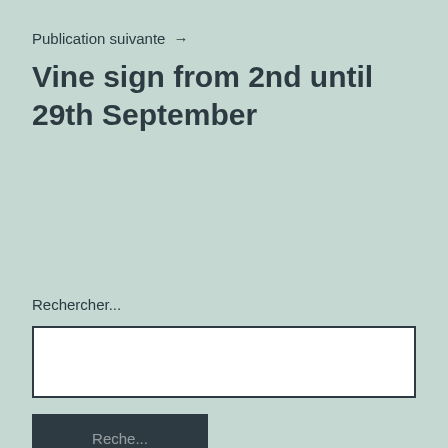Publication suivante →
Vine sign from 2nd until 29th September
Rechercher...
[Figure (other): Search input text box, white background with dark border]
[Figure (other): Dark navy search button, partially visible at bottom of page]